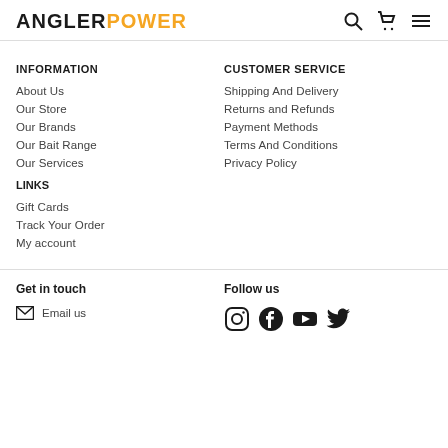ANGLERPOWER
INFORMATION
About Us
Our Store
Our Brands
Our Bait Range
Our Services
CUSTOMER SERVICE
Shipping And Delivery
Returns and Refunds
Payment Methods
Terms And Conditions
Privacy Policy
LINKS
Gift Cards
Track Your Order
My account
Get in touch
Email us
Follow us